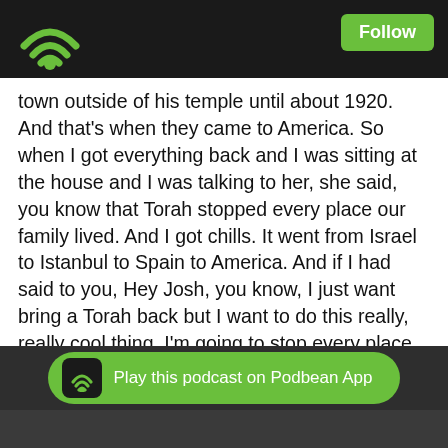Podbean podcast app header with WiFi logo and Follow button
town outside of his temple until about 1920. And that's when they came to America. So when I got everything back and I was sitting at the house and I was talking to her, she said, you know that Torah stopped every place our family lived. And I got chills. It went from Israel to Istanbul to Spain to America. And if I had said to you, Hey Josh, you know, I just want bring a Torah back but I want to do this really, really cool thing. I'm going to stop every place or a, you would tell me, Leon, you are way overthinking this and just bring the thing back and be done with it. But it just happened. It just, you know, it just worked out that way.
Leon:   36:49   And again, from an it perspective, I think it speaks to that serendipity of life, whether that's religious or it or otherwise. Sometimes you know and have this in caps, you know, things happen for a reason. Trademark, copyright, all rights reserved. Things do happen for a reason. And it's okay to know that that happens. And sometimes you say, I'm just going to see how this works out. I'm going to let things happen. I'm not going to try to make it be what I want it to be. I'm going to just let it be. I didn't intend for that to be, my travel path, but it did. And, and
Play this podcast on Podbean App